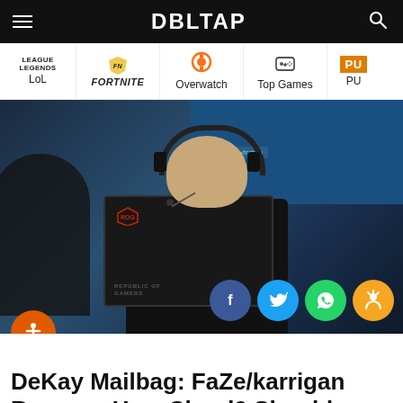DBLTAP
[Figure (infographic): Navigation bar with game categories: LoL (League of Legends), Fortnite, Overwatch, Top Games, PUBG]
[Figure (photo): Esports player wearing headset and gaming jersey sitting at ROG (Republic of Gamers) monitor at a gaming event, with sponsors including Fortum visible in background. Social share buttons (Facebook, Twitter, WhatsApp, Karma) visible at bottom right. Accessibility button at bottom left.]
DeKay Mailbag: FaZe/karrigan Rumors, How Cloud9 Should Replace